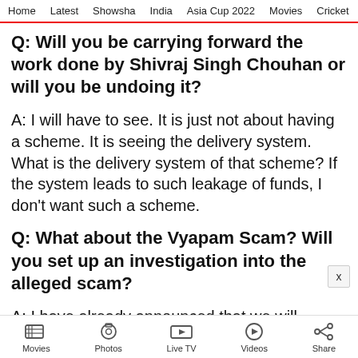Home  Latest  Showsha  India  Asia Cup 2022  Movies  Cricket
Q: Will you be carrying forward the work done by Shivraj Singh Chouhan or will you be undoing it?
A: I will have to see. It is just not about having a scheme. It is seeing the delivery system. What is the delivery system of that scheme? If the system leads to such leakage of funds, I don't want such a scheme.
Q: What about the Vyapam Scam? Will you set up an investigation into the alleged scam?
A: I have already announced that we will...
Movies  Photos  Live TV  Videos  Share